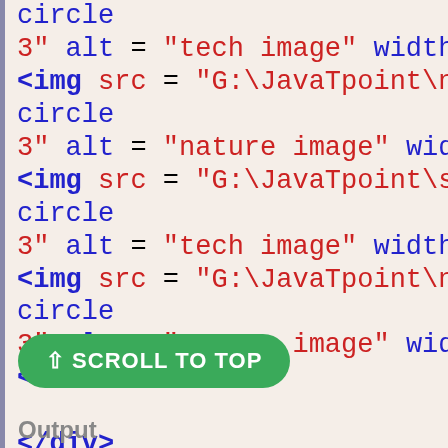circle mb- 3" alt = "tech image" width = "150" height = "150 <img src = "G:\JavaTpoint\nature.jpg" class = "rou circle mb- 3" alt = "nature image" width = "100" height = "10 <img src = "G:\JavaTpoint\starts.jpg" class = "roun circle mb- 3" alt = "tech image" width = "100" height = "150 <img src = "G:\JavaTpoint\nature.jpg" class = "rou circle mb- 3" alt = "nature image" width = "150" height = "10 </div> </div> </body>
[Figure (screenshot): Green scroll-to-top button with upward arrow and text 'SCROLL TO TOP']
Output